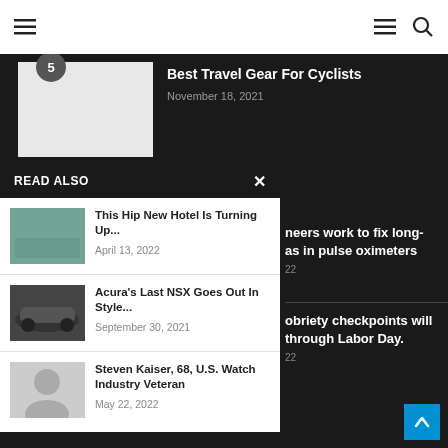Navigation bar with hamburger menu and search icons
[Figure (screenshot): Article thumbnail image with number badge '5']
Best Travel Gear For Cyclists
November 18, 2021
READ ALSO
[Figure (photo): Hotel with pool thumbnail]
This Hip New Hotel Is Turning Up...
April 13, 2022
[Figure (photo): Acura NSX sports car thumbnail]
Acura's Last NSX Goes Out In Style...
September 30, 2021
[Figure (photo): Portrait of Steven Kaiser]
Steven Kaiser, 68, U.S. Watch Industry Veteran
May 22, 2022
neers work to fix long-as in pulse oximeters
22
obriety checkpoints will through Labor Day.
22